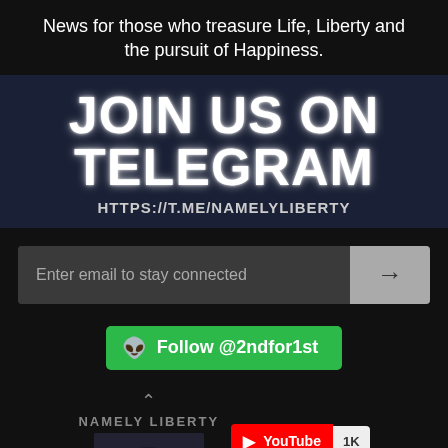News for those who treasure Life, Liberty and the pursuit of Happiness.
[Figure (infographic): Dark blue banner with large bold white text 'JOIN US ON TELEGRAM' and URL 'HTTPS://T.ME/NAMELYLIBERTY']
[Figure (screenshot): Email signup field with placeholder 'Enter email to stay connected' and an arrow button]
[Figure (infographic): Green button with alien icon and text 'Follow @2ndfor1st']
[Figure (infographic): Namely Liberty logo with eagle image, NAMELY LIBERTY label, and YouTube button showing 1K subscribers. Chat bubble icon at bottom left.]